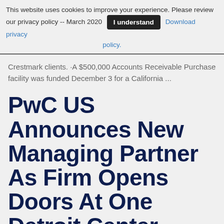This website uses cookies to improve your experience. Please review our privacy policy -- March 2020  [I understand]  Download privacy policy.
Crestmark clients. ·A $500,000 Accounts Receivable Purchase facility was funded December 3 for a California ...
PwC US Announces New Managing Partner As Firm Opens Doors At One Detroit Center
Posted on December 19, 2012